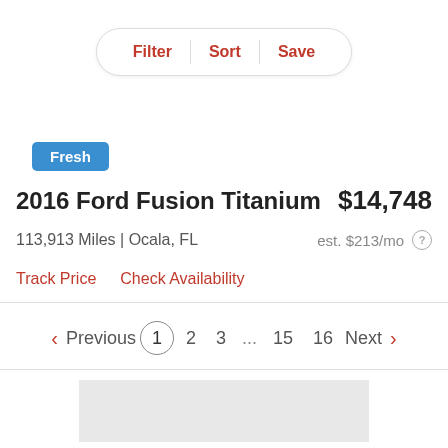[Figure (screenshot): Filter, Sort, Save pill button navigation bar]
[Figure (screenshot): Blue 'Fresh' badge label]
2016 Ford Fusion Titanium
$14,748
113,913 Miles | Ocala, FL
est. $213/mo
Track Price   Check Availability
Previous 1 2 3 ... 15 16 Next